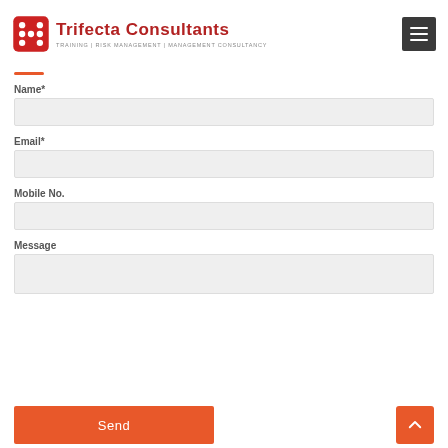[Figure (logo): Trifecta Consultants logo with red dice icon and text. Subtitle: TRAINING | RISK MANAGEMENT | MANAGEMENT CONSULTANCY]
[Figure (other): Hamburger menu icon (dark grey square with three white horizontal lines)]
Name*
Email*
Mobile No.
Message
Send